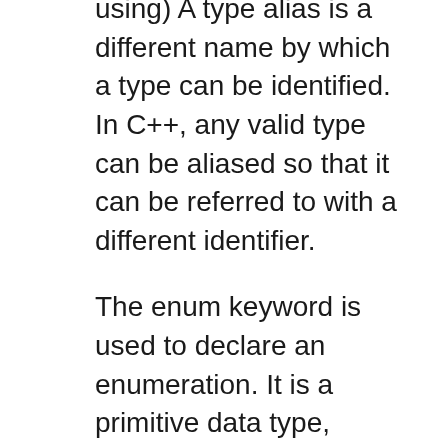using) A type alias is a different name by which a type can be identified. In C++, any valid type can be aliased so that it can be referred to with a different identifier.
The enum keyword is used to declare an enumeration. It is a primitive data type, which is user defined. An enum type can be an integer (float, int, byte, double etc.). But if you used beside int it has to be cast. An enum is used to create numeric constants in .NET framework. All the members of enum are of enum type. Their must be a numeric value for each enum type. The default underlying type The basic data types in C++ consists of: Character